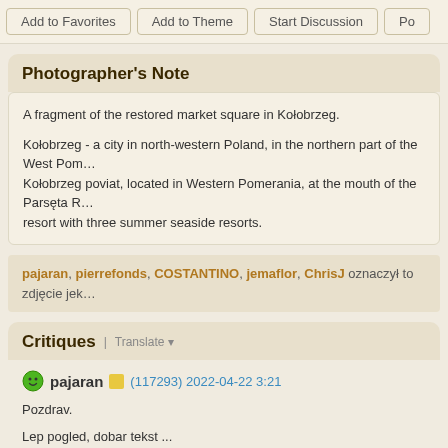Add to Favorites | Add to Theme | Start Discussion | Po...
Photographer's Note
A fragment of the restored market square in Kołobrzeg.

Kołobrzeg - a city in north-western Poland, in the northern part of the West Pom... Kołobrzeg poviat, located in Western Pomerania, at the mouth of the Parsęta R... resort with three summer seaside resorts.
pajaran, pierrefonds, COSTANTINO, jemaflor, ChrisJ oznaczył to zdjęcie jek...
Critiques | Translate
pajaran (117293) 2022-04-22 3:21

Pozdrav.

Lep pogled, dobar tekst ...
Len tru se klunem i facade se detaljima, dobro nalagane se jenim bojom...